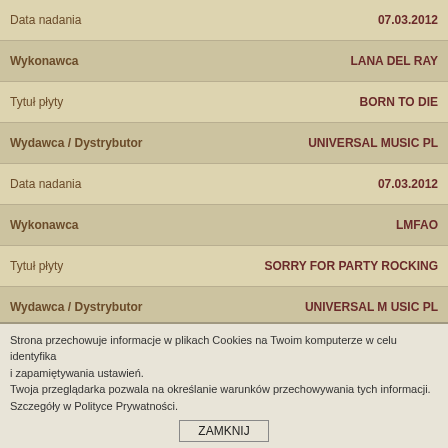| Data nadania | 07.03.2012 |
| Wykonawca | LANA DEL RAY |
| Tytuł płyty | BORN TO DIE |
| Wydawca / Dystrybutor | UNIVERSAL MUSIC PL |
| Data nadania | 07.03.2012 |
| Wykonawca | LMFAO |
| Tytuł płyty | SORRY FOR PARTY ROCKING |
| Wydawca / Dystrybutor | UNIVERSAL M USIC PL |
| Data nadania | 07.03.2012 |
| Wykonawca | RÓŻNI WYKONAWCY |
Strona przechowuje informacje w plikach Cookies na Twoim komputerze w celu identyfika i zapamiętywania ustawień.
Twoja przeglądarka pozwala na określanie warunków przechowywania tych informacji.
Szczegóły w Polityce Prywatności.
ZAMKNIJ